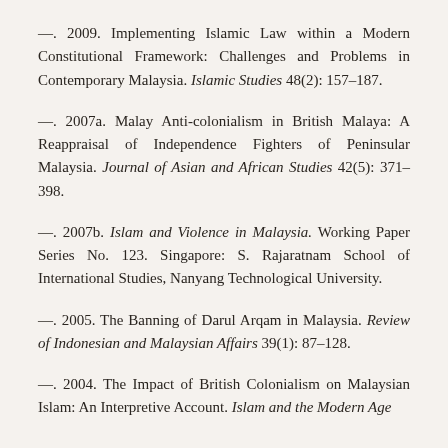—. 2009. Implementing Islamic Law within a Modern Constitutional Framework: Challenges and Problems in Contemporary Malaysia. Islamic Studies 48(2): 157–187.
—. 2007a. Malay Anti-colonialism in British Malaya: A Reappraisal of Independence Fighters of Peninsular Malaysia. Journal of Asian and African Studies 42(5): 371–398.
—. 2007b. Islam and Violence in Malaysia. Working Paper Series No. 123. Singapore: S. Rajaratnam School of International Studies, Nanyang Technological University.
—. 2005. The Banning of Darul Arqam in Malaysia. Review of Indonesian and Malaysian Affairs 39(1): 87–128.
—. 2004. The Impact of British Colonialism on Malaysian Islam: An Interpretive Account. Islam and the Modern Age